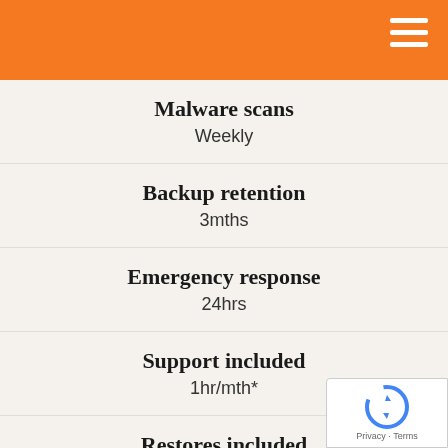Malware scans
Weekly
Backup retention
3mths
Emergency response
24hrs
Support included
1hr/mth*
Restores included
Unlimited**